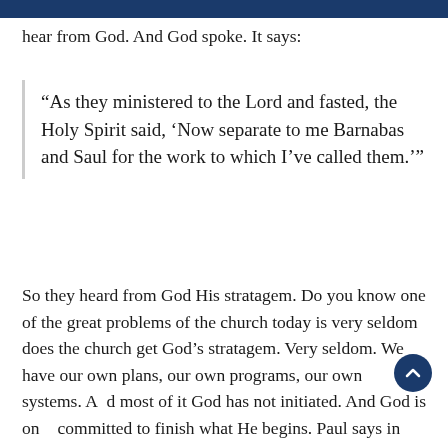hear from God. And God spoke. It says:
“As they ministered to the Lord and fasted, the Holy Spirit said, ‘Now separate to me Barnabas and Saul for the work to which I’ve called them.’”
So they heard from God His stratagem. Do you know one of the great problems of the church today is very seldom does the church get God’s stratagem. Very seldom. We have our own plans, our own programs, our own systems. And most of it God has not initiated. And God is only committed to finish what He begins. Paul says in